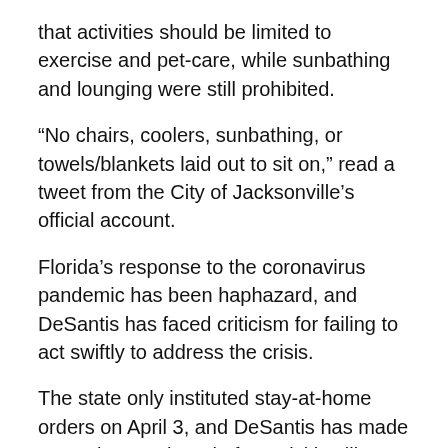that activities should be limited to exercise and pet-care, while sunbathing and lounging were still prohibited.
“No chairs, coolers, sunbathing, or towels/blankets laid out to sit on,” read a tweet from the City of Jacksonville’s official account.
Florida’s response to the coronavirus pandemic has been haphazard, and DeSantis has faced criticism for failing to act swiftly to address the crisis.
The state only instituted stay-at-home orders on April 3, and DeSantis has made exceptions to the rule for activities like pro-wrestling, which he declared an “essential business.”
DeSantis initially declined to close beaches at all, arguing that the state should have a “tailored” approach. Many beaches remained open and crowded with spring breakers early on, and the New York Times reported that people returning from Florida had spread the virus in other states.